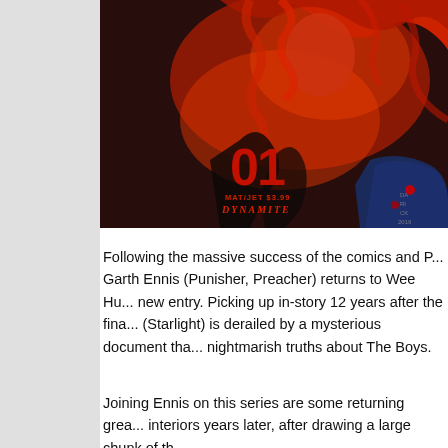[Figure (illustration): Comic book cover art showing a woman with flowing red/orange hair on a dark red and black background. Large '01' number visible, text reads 'MAT/JET $3.99' and 'DYNAMITE'. Artist signature 'DARICK 2019' visible in bottom right.]
Following the massive success of the comics and P... Garth Ennis (Punisher, Preacher) returns to Wee Hu... new entry. Picking up in-story 12 years after the fina... (Starlight) is derailed by a mysterious document tha... nightmarish truths about The Boys.
Joining Ennis on this series are some returning grea... interiors years later, after drawing a large chunk of th...